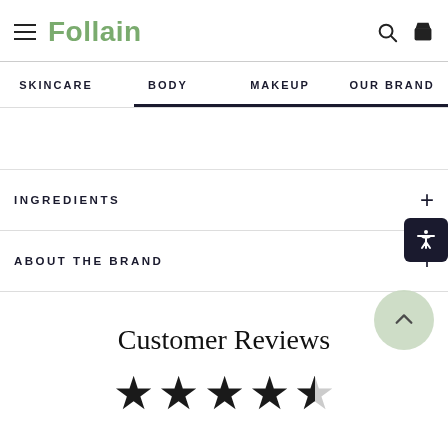Follain — SKINCARE | BODY | MAKEUP | OUR BRAND
INGREDIENTS +
ABOUT THE BRAND +
Customer Reviews
[Figure (other): 4.5 out of 5 stars rating display — four full dark stars and one half-filled star]